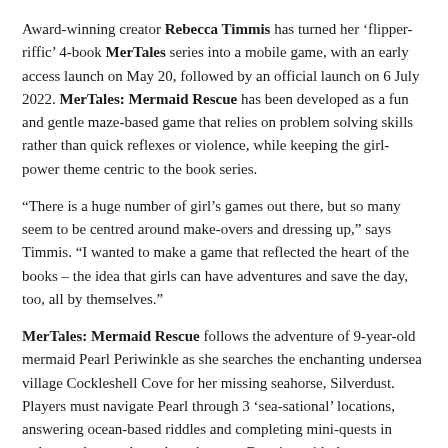Award-winning creator Rebecca Timmis has turned her 'flipper-riffic' 4-book MerTales series into a mobile game, with an early access launch on May 20, followed by an official launch on 6 July 2022. MerTales: Mermaid Rescue has been developed as a fun and gentle maze-based game that relies on problem solving skills rather than quick reflexes or violence, while keeping the girl-power theme centric to the book series.
“There is a huge number of girl’s games out there, but so many seem to be centred around make-overs and dressing up,” says Timmis. “I wanted to make a game that reflected the heart of the books – the idea that girls can have adventures and save the day, too, all by themselves.”
MerTales: Mermaid Rescue follows the adventure of 9-year-old mermaid Pearl Periwinkle as she searches the enchanting undersea village Cockleshell Cove for her missing seahorse, Silverdust. Players must navigate Pearl through 3 ‘sea-sational’ locations, answering ocean-based riddles and completing mini-quests in order to advance through each maze. Bursting with the same mermaid-esque cuteness and clever wordplay as the books, the game is sure to be a hit with newcomers to the series and established fans alike.